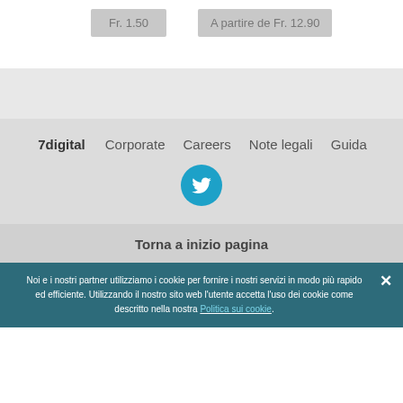Fr. 1.50
A partire de Fr. 12.90
7digital   Corporate   Careers   Note legali   Guida
[Figure (logo): Twitter bird icon in a teal/cyan circle]
Torna a inizio pagina
Noi e i nostri partner utilizziamo i cookie per fornire i nostri servizi in modo più rapido ed efficiente. Utilizzando il nostro sito web l'utente accetta l'uso dei cookie come descritto nella nostra Politica sui cookie.